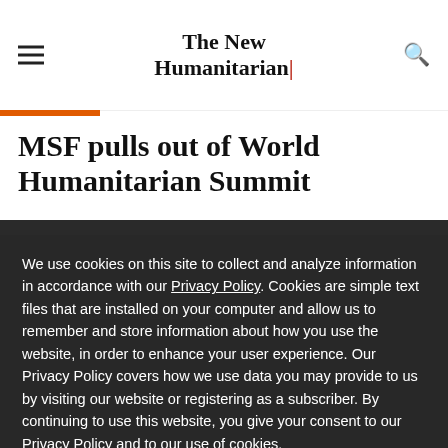The New Humanitarian
MSF pulls out of World Humanitarian Summit
We use cookies on this site to collect and analyze information in accordance with our Privacy Policy. Cookies are simple text files that are installed on your computer and allow us to remember and store information about how you use the website, in order to enhance your user experience. Our Privacy Policy covers how we use data you may provide to us by visiting our website or registering as a subscriber. By continuing to use this website, you give your consent to our Privacy Policy and to our use of cookies.
OK, I agree